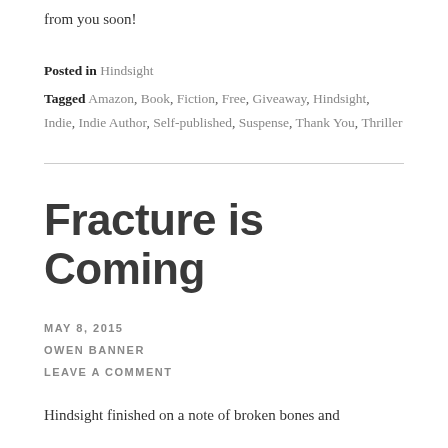from you soon!
Posted in Hindsight
Tagged Amazon, Book, Fiction, Free, Giveaway, Hindsight, Indie, Indie Author, Self-published, Suspense, Thank You, Thriller
Fracture is Coming
MAY 8, 2015
OWEN BANNER
LEAVE A COMMENT
Hindsight finished on a note of broken bones and